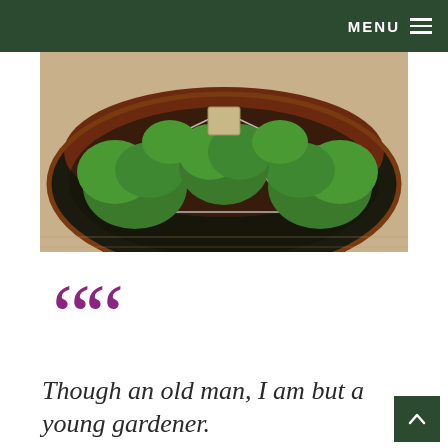MENU
[Figure (photo): A circular garden bed with dark mulch and reddish gravel, containing several green shrubs arranged around a central star-shaped wire frame or structure, edged with a brown metal border, set on sandy ground.]
““
Though an old man, I am but a young gardener.